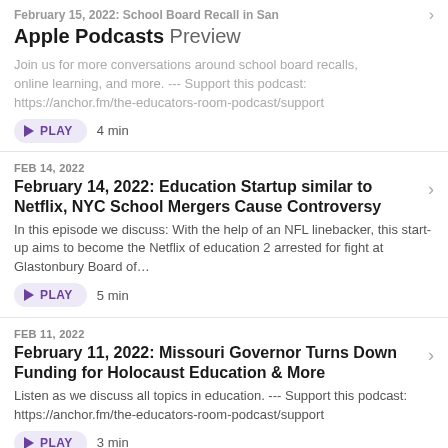February 15, 2022: School Board Recall in San | Apple Podcasts Preview
Join us for more conversations around school board recalls, online learning, and more. --- Support this podcast: https://anchor.fm/the-educators-room-podcast/support
PLAY  4 min
FEB 14, 2022
February 14, 2022: Education Startup similar to Netflix, NYC School Mergers Cause Controversy
In this episode we discuss: With the help of an NFL linebacker, this start-up aims to become the Netflix of education 2 arrested for fight at Glastonbury Board of...
PLAY  5 min
FEB 11, 2022
February 11, 2022: Missouri Governor Turns Down Funding for Holocaust Education & More
Listen as we discuss all topics in education. --- Support this podcast: https://anchor.fm/the-educators-room-podcast/support
PLAY  3 min